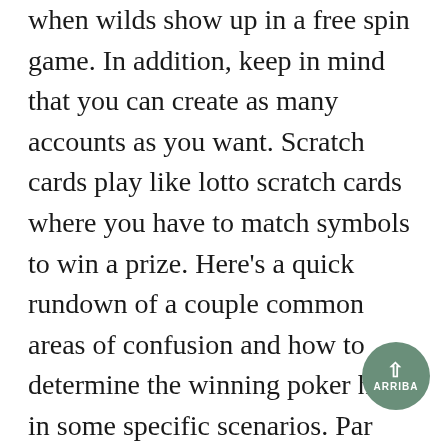when wilds show up in a free spin game. In addition, keep in mind that you can create as many accounts as you want. Scratch cards play like lotto scratch cards where you have to match symbols to win a prize. Here's a quick rundown of a couple common areas of confusion and how to determine the winning poker hand in some specific scenarios. Par izveidotajiem materiāliem pilnībā atbild Kurzemes plānošanas reģionsProjekta mērķis: Veicināt uzņēmējdarbības attīstību, nodrošinot atbalsta sistēmu un veicinot biznesa ideju dzīvotspēju, koncentrējoties uz biznesa uzsākšanos un pašnodarbinātību. For more than forty years World Series of Poker has been the most trusted